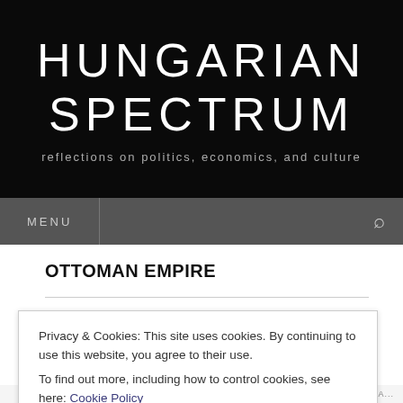HUNGARIAN SPECTRUM
reflections on politics, economics, and culture
MENU
OTTOMAN EMPIRE
Privacy & Cookies: This site uses cookies. By continuing to use this website, you agree to their use.
To find out more, including how to control cookies, see here: Cookie Policy
Close and accept